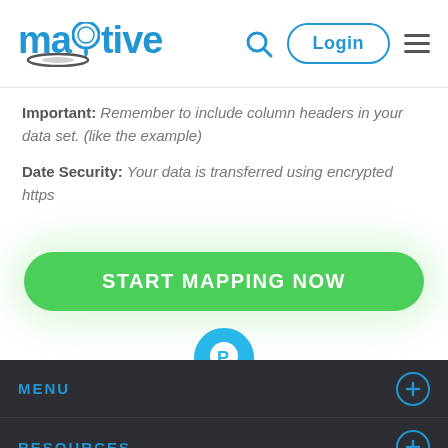Maptive — Login navigation header
Important: Remember to include column headers in your data set. (like the example)
Date Security: Your data is transferred using encrypted https
[Figure (other): Green rounded button labeled START MAPPING NOW]
[Figure (other): Blue map location pin icon with circular letter P inside]
MENU
RESOURCES